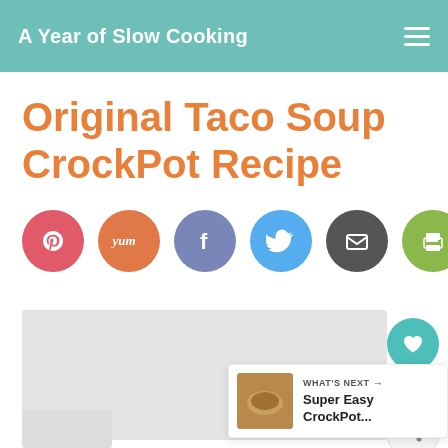A Year of Slow Cooking
Original Taco Soup CrockPot Recipe
[Figure (infographic): Row of 7 circular social sharing buttons: Pinterest (pink/red), Yummly (orange), Facebook (blue-purple), Twitter (light blue), Email (dark gray), Print (olive green), WhatsApp (mint green)]
[Figure (photo): Light gray rectangular image placeholder area for recipe photo]
[Figure (infographic): Right-side panel with teal heart/like button, count of 18, and share button]
[Figure (infographic): What's Next banner at bottom right showing Super Easy CrockPot... with thumbnail image]